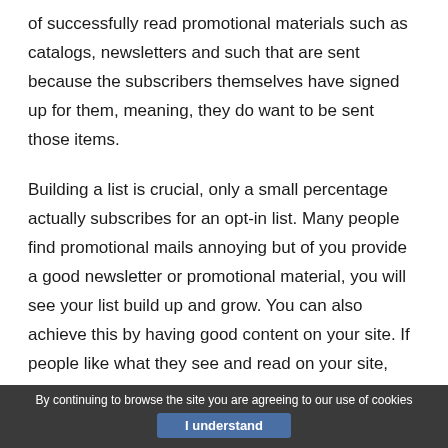of successfully read promotional materials such as catalogs, newsletters and such that are sent because the subscribers themselves have signed up for them, meaning, they do want to be sent those items.
Building a list is crucial, only a small percentage actually subscribes for an opt-in list. Many people find promotional mails annoying but of you provide a good newsletter or promotional material, you will see your list build up and grow. You can also achieve this by having good content on your site. If people like what they see and read on your site, then they surely would want more.
By continuing to browse the site you are agreeing to our use of cookies
I understand